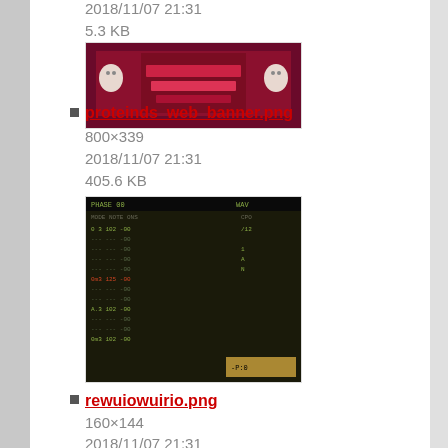2018/11/07 21:31
5.3 KB
[Figure (screenshot): Thumbnail image of proteinds_web_banner.png showing a dark red/maroon banner with pixel art text]
proteinds_web_banner.png
800×339
2018/11/07 21:31
405.6 KB
[Figure (screenshot): Thumbnail image of rewuiowuirio.png showing a green-tinted pixel art music tracker/sequencer interface]
rewuiowuirio.png
160×144
2018/11/07 21:31
2.4 KB
[Figure (screenshot): Thumbnail image of ritmo_noise.png showing a blue pixel art music tracker/sequencer interface]
ritmo_noise.png